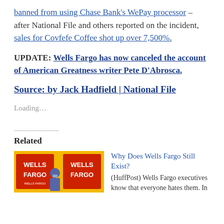banned from using Chase Bank's WePay processor – after National File and others reported on the incident, sales for Covfefe Coffee shot up over 7,500%.
UPDATE: Wells Fargo has now canceled the account of American Greatness writer Pete D'Abrosca.
Source: by Jack Hadfield | National File
Loading...
Related
[Figure (photo): Wells Fargo building exterior with two red Wells Fargo signs and a person wearing a mask walking in front]
Why Does Wells Fargo Still Exist?
(HuffPost) Wells Fargo executives know that everyone hates them. In